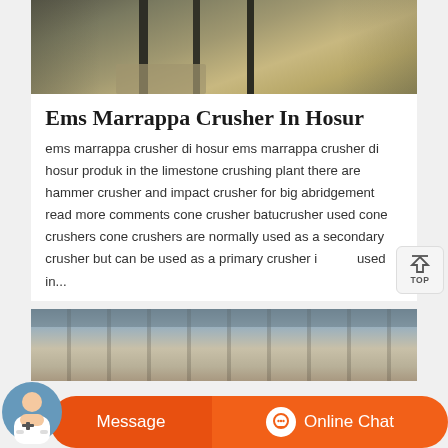[Figure (photo): Industrial crusher/grinding machine with metal pillars and sandy/rocky ground below, indoor setting, top portion of image visible]
Ems Marrappa Crusher In Hosur
ems marrappa crusher di hosur ems marrappa crusher di hosur produk in the limestone crushing plant there are hammer crusher and impact crusher for big abridgement read more comments cone crusher batucrusher used cone crushers cone crushers are normally used as a secondary crusher but can be used as a primary crusher is used in...
[Figure (photo): Industrial plant interior with metal framework and machinery, bottom portion partially visible]
[Figure (screenshot): Orange chat bar at bottom with Message button and Online Chat button with support avatar]